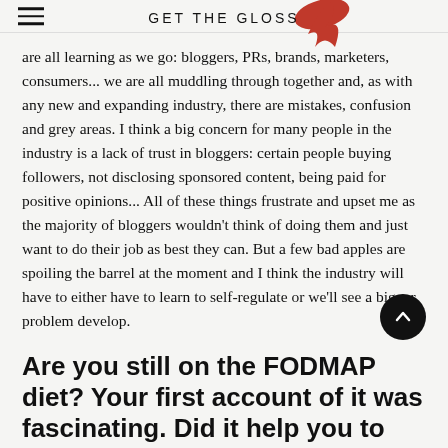GET THE GLOSS
are all learning as we go: bloggers, PRs, brands, marketers, consumers... we are all muddling through together and, as with any new and expanding industry, there are mistakes, confusion and grey areas. I think a big concern for many people in the industry is a lack of trust in bloggers: certain people buying followers, not disclosing sponsored content, being paid for positive opinions... All of these things frustrate and upset me as the majority of bloggers wouldn't think of doing them and just want to do their job as best they can. But a few bad apples are spoiling the barrel at the moment and I think the industry will have to either have to learn to self-regulate or we'll see a bigger problem develop.
Are you still on the FODMAP diet? Your first account of it was fascinating. Did it help you to identify what you needed to cut